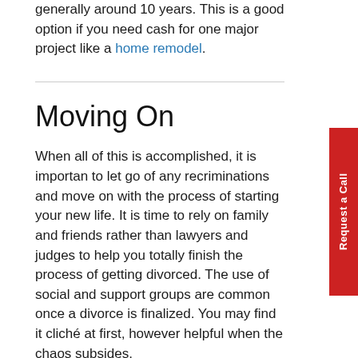generally around 10 years. This is a good option if you need cash for one major project like a home remodel.
Moving On
When all of this is accomplished, it is important to let go of any recriminations and move on with the process of starting your new life. It is time to rely on family and friends rather than lawyers and judges to help you totally finish the process of getting divorced. The use of social and support groups are common once a divorce is finalized. You may find it cliché at first, however helpful when the chaos subsides.